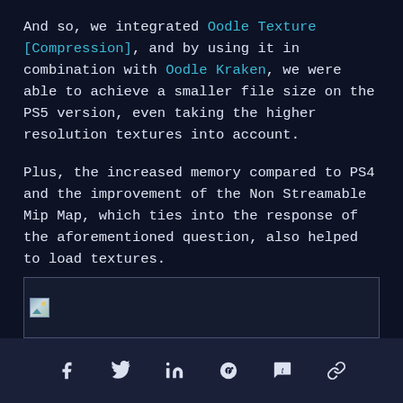And so, we integrated Oodle Texture [Compression], and by using it in combination with Oodle Kraken, we were able to achieve a smaller file size on the PS5 version, even taking the higher resolution textures into account.
Plus, the increased memory compared to PS4 and the improvement of the Non Streamable Mip Map, which ties into the response of the aforementioned question, also helped to load textures.
We were also able to use more high-resolution light maps, which improved the accuracy of the lighting.
[Figure (photo): Partially visible image at the bottom of the content area, with a small broken/loading image icon visible in the top-left corner.]